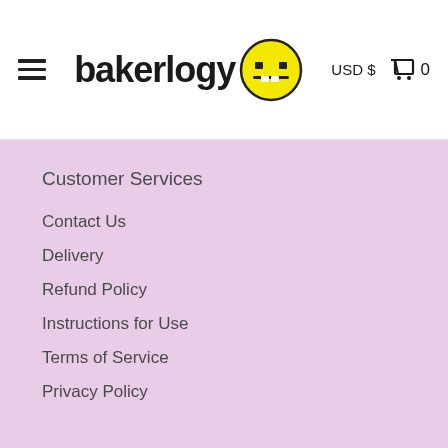bakerlogy USD $ 0
Customer Services
Contact Us
Delivery
Refund Policy
Instructions for Use
Terms of Service
Privacy Policy
Connect